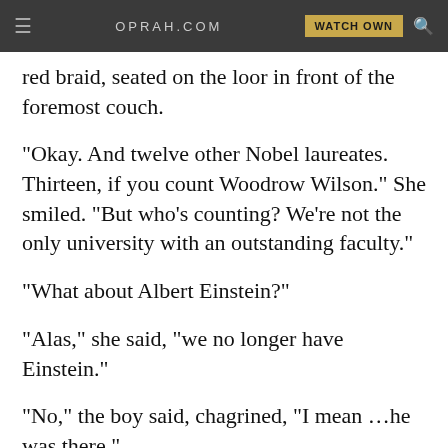OPRAH.COM | WATCH OWN
red braid, seated on the loor in front of the foremost couch.
"Okay. And twelve other Nobel laureates. Thirteen, if you count Woodrow Wilson." She smiled. "But who's counting? We're not the only university with an outstanding faculty."
"What about Albert Einstein?"
"Alas," she said, "we no longer have Einstein."
"No," the boy said, chagrined, "I mean …he was there."